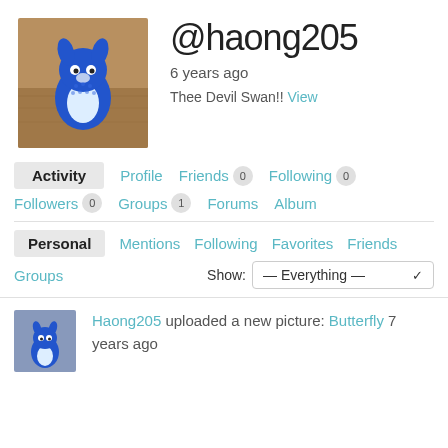[Figure (photo): Profile photo showing a blue origami/beaded creature figure on a wooden surface]
@haong205
6 years ago
Thee Devil Swan!! View
Activity  Profile  Friends 0  Following 0  Followers 0  Groups 1  Forums  Album
Personal  Mentions  Following  Favorites  Friends  Groups  Show: — Everything —
[Figure (photo): Small thumbnail of blue origami/beaded creature figure]
Haong205 uploaded a new picture: Butterfly 7 years ago